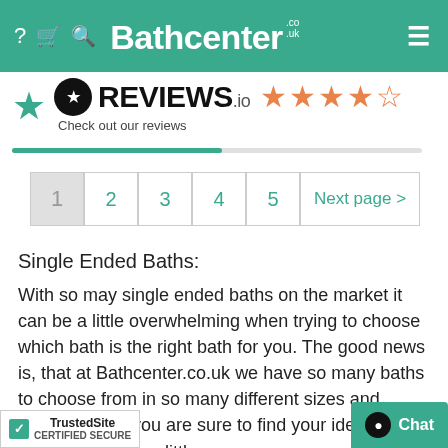Bathcenter.co.uk
[Figure (logo): Reviews.io logo with 4.5 orange stars and teal star icon]
Check out our reviews
1
2
3
4
5
Next page >
Single Ended Baths:
With so may single ended baths on the market it can be a little overwhelming when trying to choose which bath is the right bath for you. The good news is, that at Bathcenter.co.uk we have so many baths to choose from in so many different sizes and strengths that you are sure to find your ideal single ended bath with a little